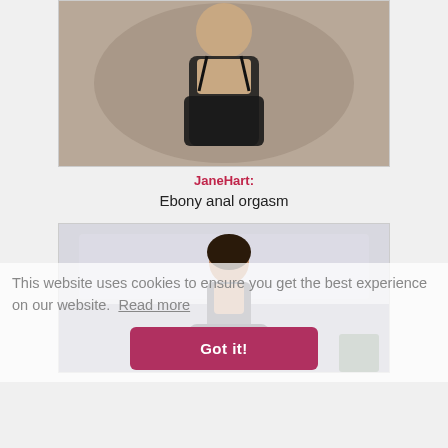[Figure (photo): Person in black lingerie posing against a light background]
JaneHart: Ebony anal orgasm
[Figure (photo): Person in casual clothing sitting against a white wall]
This website uses cookies to ensure you get the best experience on our website. Read more
Got it!